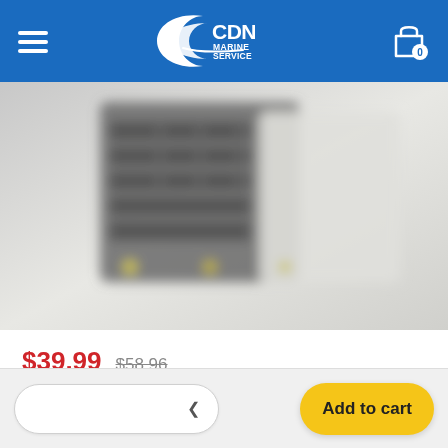[Figure (logo): CDN Marine Service logo — white text on blue background with stylized C swoosh]
[Figure (photo): Blurred product image showing a dark grey/black marine circuit breaker panel or electrical box]
$39.99  $58.96 (strikethrough)
Add to cart